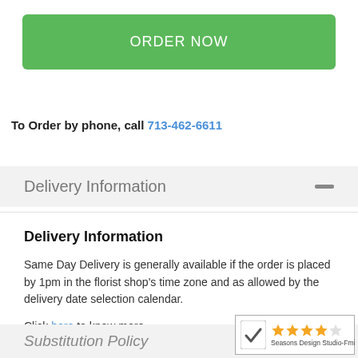ORDER NOW
To Order by phone, call 713-462-6611
Delivery Information
Delivery Information
Same Day Delivery is generally available if the order is placed by 1pm in the florist shop's time zone and as allowed by the delivery date selection calendar.
Click here to know more
Substitution Policy